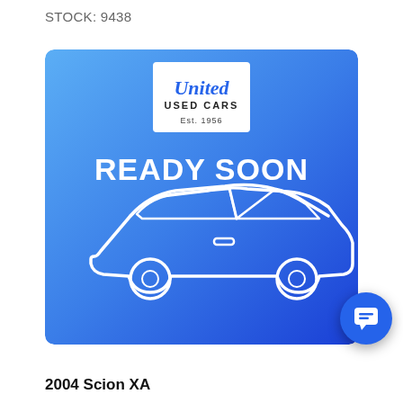STOCK: 9438
[Figure (illustration): United Used Cars Est. 1956 dealership placeholder image with blue gradient background, white outlined car silhouette, and 'READY SOON' text in white bold letters at the top center.]
2004 Scion XA